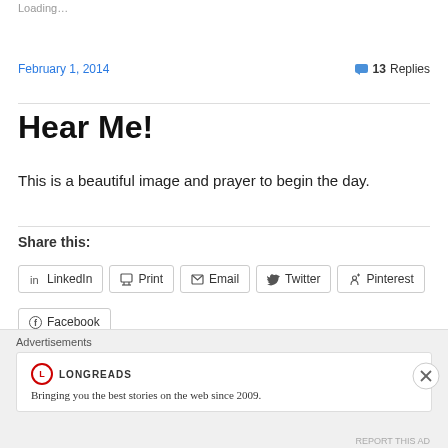Loading...
February 1, 2014
13 Replies
Hear Me!
This is a beautiful image and prayer to begin the day.
Share this:
LinkedIn
Print
Email
Twitter
Pinterest
Facebook
Advertisements
LONGREADS
Bringing you the best stories on the web since 2009.
REPORT THIS AD